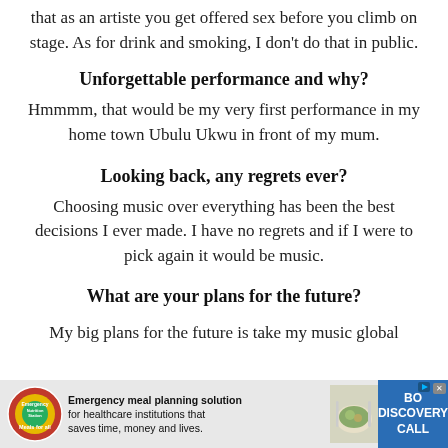that as an artiste you get offered sex before you climb on stage. As for drink and smoking, I don't do that in public.
Unforgettable performance and why?
Hmmmm, that would be my very first performance in my home town Ubulu Ukwu in front of my mum.
Looking back, any regrets ever?
Choosing music over everything has been the best decisions I ever made. I have no regrets and if I were to pick again it would be music.
What are your plans for the future?
My big plans for the future is take my music global
[Figure (infographic): Advertisement banner: Emergency meal planning solution for healthcare institutions that saves time, money and lives. Shows Meals for all logo, food image, and DISCOVERY CALL button.]